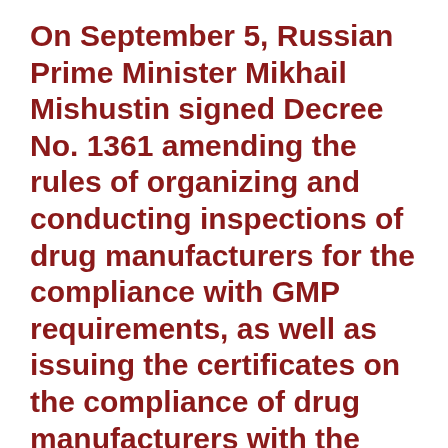On September 5, Russian Prime Minister Mikhail Mishustin signed Decree No. 1361 amending the rules of organizing and conducting inspections of drug manufacturers for the compliance with GMP requirements, as well as issuing the certificates on the compliance of drug manufacturers with the GMP standards.
The amendments approved by the Chairman of the Government of the Russian Federation have been adopted to bring Russian legislation into compliance with the Rules of conducting pharmaceutical inspections approved by the Eurasian Economic Commission Council. These amendments concern the requirements approved